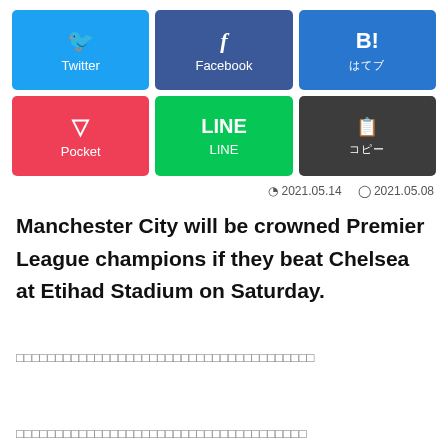[Figure (infographic): Social share buttons: Twitter (blue), Facebook (dark blue), Hatena Bookmark (blue) in top row; Pocket (red/pink), LINE (green), copy button (dark gray) in bottom row]
2021.05.14  2021.05.08
Manchester City will be crowned Premier League champions if they beat Chelsea at Etihad Stadium on Saturday.
[tofu characters - Japanese text placeholder]
[tofu characters - Japanese text placeholder]